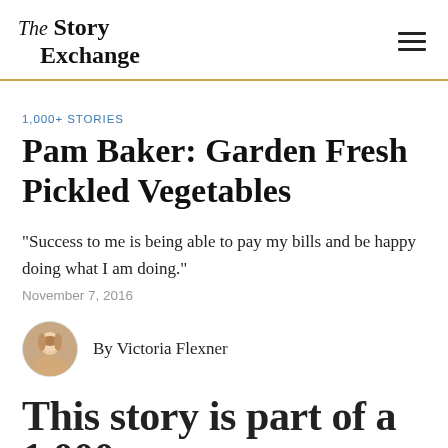The Story Exchange
1,000+ STORIES
Pam Baker: Garden Fresh Pickled Vegetables
“Success to me is being able to pay my bills and be happy doing what I am doing.”
November 7, 2016
By Victoria Flexner
This story is part of a 1,000